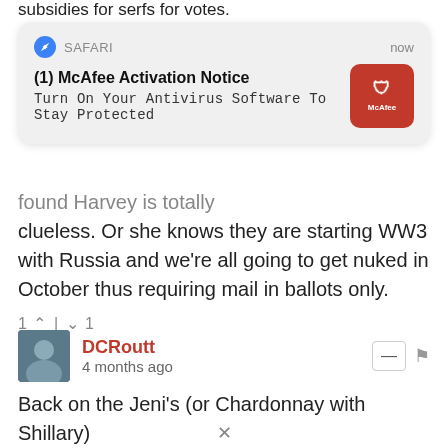subsidies for serfs for votes.
[Figure (screenshot): Safari browser notification popup: '(1) McAfee Activation Notice - Turn On Your Antivirus Software To Stay Protected' with McAfee logo, labeled 'now']
found Harvey is totally clueless. Or she knows they are starting WW3 with Russia and we're all going to get nuked in October thus requiring mail in ballots only.
1 ^ | v 1
DCRoutt
4 months ago
Back on the Jeni's (or Chardonnay with Shillary)